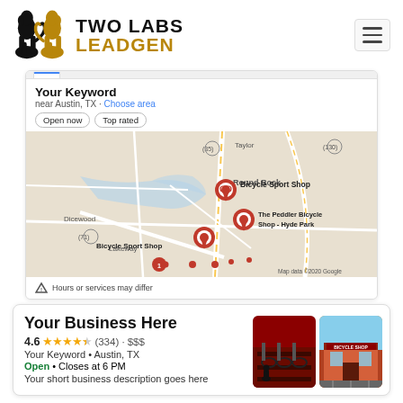[Figure (logo): Two Labs Leadgen logo with two Labrador dogs silhouette and company name]
[Figure (screenshot): Google Maps local search result screenshot showing 'Your Keyword near Austin, TX' with map markers for Bicycle Sport Shop, The Peddler Bicycle Shop - Hyde Park, and other locations. Filters: Open now, Top rated. Warning: Hours or services may differ.]
[Figure (screenshot): Google My Business listing card showing 'Your Business Here', rating 4.6 stars (334 reviews), $$$, Your Keyword • Austin TX, Open • Closes at 6 PM, and short business description with two business photos]